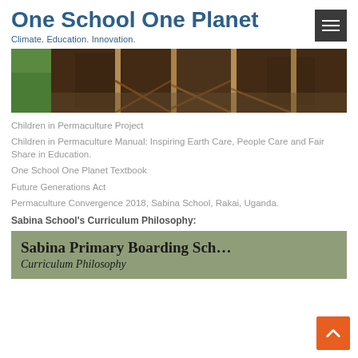One School One Planet
Climate. Education. Innovation.
[Figure (photo): Garden beds with soil, mulch, wooden stakes and dried plant material — from Children in Permaculture Project]
Children in Permaculture Project
Children in Permaculture Manual: Inspiring Earth Care, People Care and Fair Share in Education.
One School One Planet Textbook
Future Generations Act
Permaculture Convergence 2018, Sabina School, Rakai, Uganda.
Sabina School's Curriculum Philosophy:
[Figure (photo): Sabina Primary Boarding School Curriculum Philosophy document image with olive/sage green background]